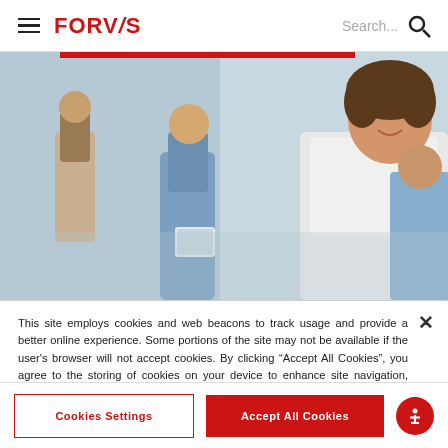FORVIS — navigation bar with hamburger menu and search
[Figure (photo): Healthcare workers in a clinical setting; a smiling woman in a white lab coat looking at a tablet, with staff in blue scrubs in the background]
This site employs cookies and web beacons to track usage and provide a better online experience. Some portions of the site may not be available if the user's browser will not accept cookies. By clicking "Accept All Cookies", you agree to the storing of cookies on your device to enhance site navigation, analyze site usage, and assist in our marketing efforts.
Cookie Notice
Cookies Settings
Accept All Cookies